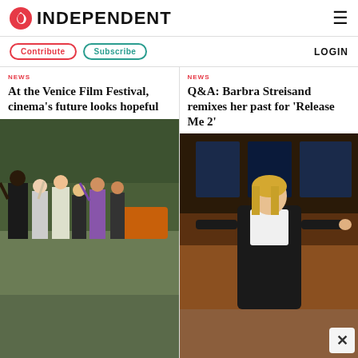INDEPENDENT
Contribute  Subscribe  LOGIN
NEWS
At the Venice Film Festival, cinema’s future looks hopeful
[Figure (photo): Group of people waving at the Venice Film Festival, outdoors with trees in background]
NEWS
Q&A: Barbra Streisand remixes her past for ‘Release Me 2’
[Figure (photo): Barbra Streisand on stage, wearing black outfit, waving with one arm extended]